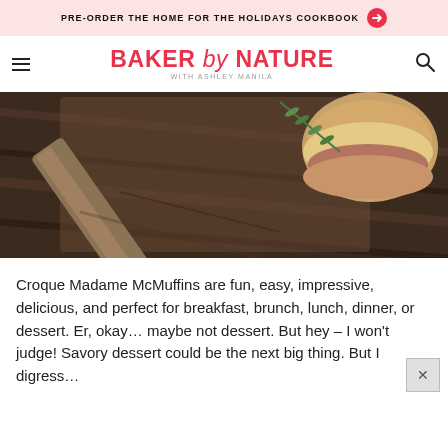PRE-ORDER THE HOME FOR THE HOLIDAYS COOKBOOK →
BAKER by NATURE WITH ASHLEY MANILA
[Figure (photo): Overhead food photograph of a Croque Madame McMuffin on a dark wooden board with a knife and herbs]
Croque Madame McMuffins are fun, easy, impressive, delicious, and perfect for breakfast, brunch, lunch, dinner, or dessert. Er, okay… maybe not dessert. But hey – I won't judge! Savory dessert could be the next big thing. But I digress…